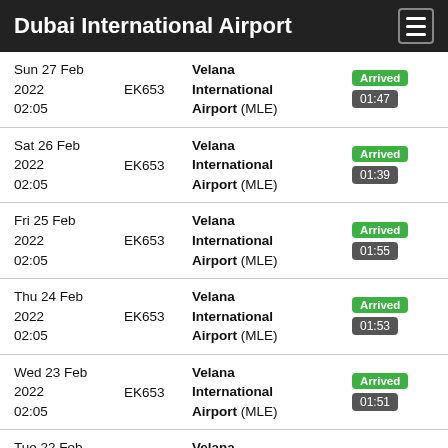Dubai International Airport
| Date | Flight | Destination | Status | Delay |
| --- | --- | --- | --- | --- |
| Sun 27 Feb 2022 02:05 | EK653 | Velana International Airport (MLE) | Arrived 01:47 | No delay |
| Sat 26 Feb 2022 02:05 | EK653 | Velana International Airport (MLE) | Arrived 01:39 | No delay |
| Fri 25 Feb 2022 02:05 | EK653 | Velana International Airport (MLE) | Arrived 01:55 | No delay |
| Thu 24 Feb 2022 02:05 | EK653 | Velana International Airport (MLE) | Arrived 01:53 | No delay |
| Wed 23 Feb 2022 02:05 | EK653 | Velana International Airport (MLE) | Arrived 01:51 | No delay |
| Tue 22 Feb 2022 02:05 | EK653 | Velana International Airport (MLE) | Arrived 01:45 | No delay |
| Mon 21 Feb 2022 | EK653 | Velana International Airport (MLE) | Arrived | No delay |